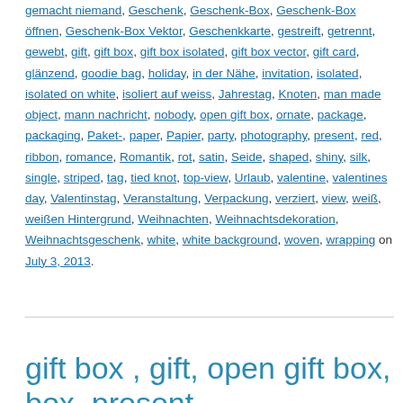gemacht niemand, Geschenk, Geschenk-Box, Geschenk-Box öffnen, Geschenk-Box Vektor, Geschenkkarte, gestreift, getrennt, gewebt, gift, gift box, gift box isolated, gift box vector, gift card, glänzend, goodie bag, holiday, in der Nähe, invitation, isolated, isolated on white, isoliert auf weiss, Jahrestag, Knoten, man made object, mann nachricht, nobody, open gift box, ornate, package, packaging, Paket-, paper, Papier, party, photography, present, red, ribbon, romance, Romantik, rot, satin, Seide, shaped, shiny, silk, single, striped, tag, tied knot, top-view, Urlaub, valentine, valentines day, Valentinstag, Veranstaltung, Verpackung, verziert, view, weiß, weißen Hintergrund, Weihnachten, Weihnachtsdekoration, Weihnachtsgeschenk, white, white background, woven, wrapping on July 3, 2013.
gift box , gift, open gift box, box, present,